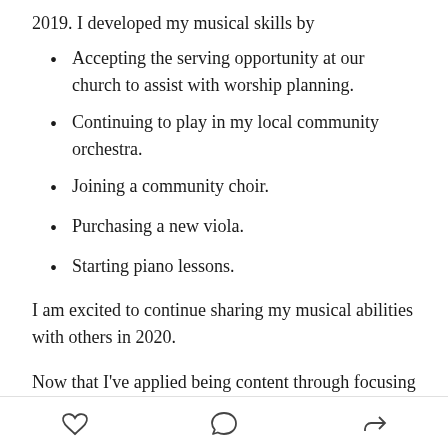2019. I developed my musical skills by
Accepting the serving opportunity at our church to assist with worship planning.
Continuing to play in my local community orchestra.
Joining a community choir.
Purchasing a new viola.
Starting piano lessons.
I am excited to continue sharing my musical abilities with others in 2020.
Now that I’ve applied being content through focusing on the basics, I am ready to continue these good habits
[heart icon] [comment icon] [share icon]